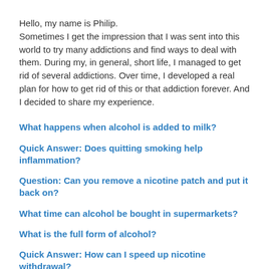Hello, my name is Philip.
Sometimes I get the impression that I was sent into this world to try many addictions and find ways to deal with them. During my, in general, short life, I managed to get rid of several addictions. Over time, I developed a real plan for how to get rid of this or that addiction forever. And I decided to share my experience.
What happens when alcohol is added to milk?
Quick Answer: Does quitting smoking help inflammation?
Question: Can you remove a nicotine patch and put it back on?
What time can alcohol be bought in supermarkets?
What is the full form of alcohol?
Quick Answer: How can I speed up nicotine withdrawal?